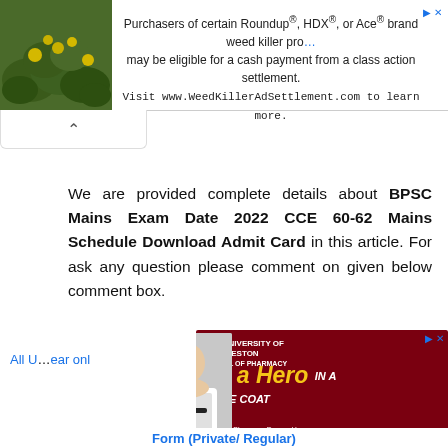[Figure (other): Top advertisement banner: plant/flowers image on left, text for Roundup/HDX/Ace weed killer class action settlement on right, with close button]
We are provided complete details about BPSC Mains Exam Date 2022 CCE 60-62 Mains Schedule Download Admit Card in this article. For ask any question please comment on given below comment box.
[Figure (other): University of Charleston School of Pharmacy advertisement: 'Be a Hero in a White Coat' with woman in white coat, UC logo]
All U...ear onl
Form (Private/ Regular)